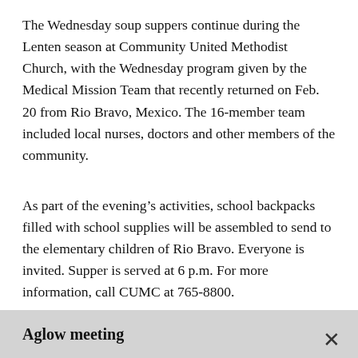The Wednesday soup suppers continue during the Lenten season at Community United Methodist Church, with the Wednesday program given by the Medical Mission Team that recently returned on Feb. 20 from Rio Bravo, Mexico. The 16-member team included local nurses, doctors and other members of the community.
As part of the evening’s activities, school backpacks filled with school supplies will be assembled to send to the elementary children of Rio Bravo. Everyone is invited. Supper is served at 6 p.m. For more information, call CUMC at 765-8800.
Aglow meeting